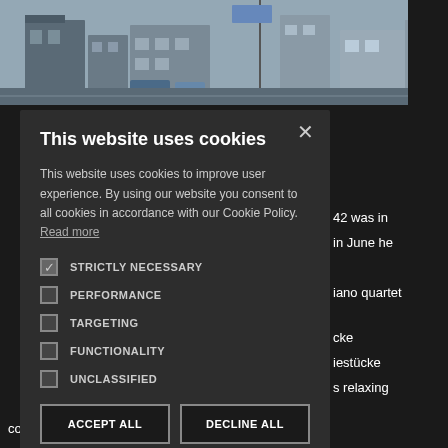[Figure (screenshot): Cookie consent dialog overlaid on a website showing a street scene photo at top and dark background with partial text content visible on the right side]
This website uses cookies
This website uses cookies to improve user experience. By using our website you consent to all cookies in accordance with our Cookie Policy. Read more
STRICTLY NECESSARY (checked)
PERFORMANCE
TARGETING
FUNCTIONALITY
UNCLASSIFIED
ACCEPT ALL | DECLINE ALL
SHOW DETAILS
compositions written for domestic music-making, in